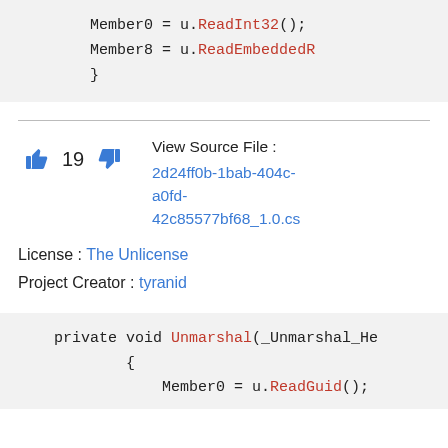[Figure (screenshot): Code block showing Member0 = u.ReadInt32(); Member8 = u.ReadEmbeddedR... and closing brace },  on a light gray background]
View Source File : 2d24ff0b-1bab-404c-a0fd-42c85577bf68_1.0.cs
License : The Unlicense
Project Creator : tyranid
[Figure (screenshot): Code block showing private void Unmarshal(_Unmarshal_He... { Member0 = u.ReadGuid(); on a light gray background]